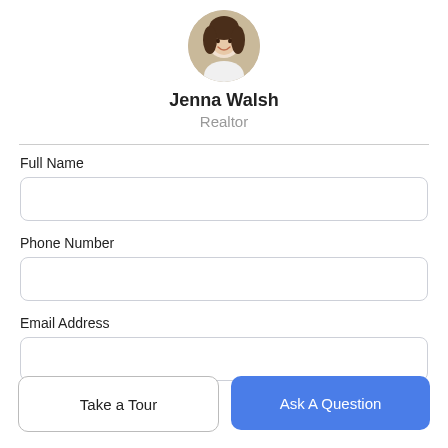[Figure (photo): Circular profile photo of Jenna Walsh, a woman with dark hair, smiling]
Jenna Walsh
Realtor
Full Name
Phone Number
Email Address
Take a Tour
Ask A Question